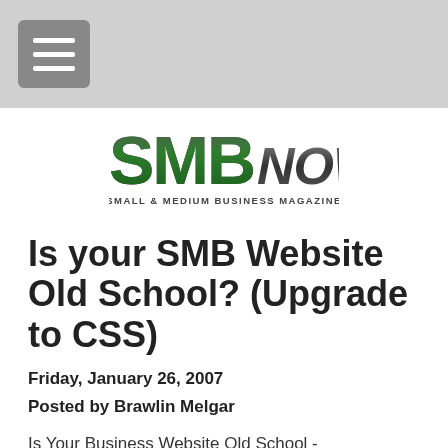[Figure (logo): SMBNow - Small & Medium Business Magazine logo]
Is your SMB Website Old School? (Upgrade to CSS)
Friday, January 26, 2007
Posted by Brawlin Melgar
Is Your Business Website Old School - 5 Reasons To Redesign With CSS By Linda Bustos